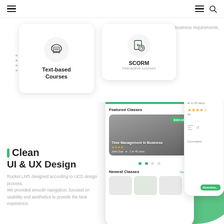Navigation bar with hamburger menu and search icon
[Figure (screenshot): Card showing Text-based Courses with cloud/book icon]
[Figure (screenshot): Card showing SCORM Interactive courses with document/timer icon]
business requirements.
[Figure (screenshot): Rocket LMS mobile app screenshot showing Featured Classes with Time Management in Business course and Newest Classes section]
Clean
UI & UX Design
Rocket LMS designed according to UCD design process. We provided smooth navigation, focused on usability and aesthetics to provide the best experience.